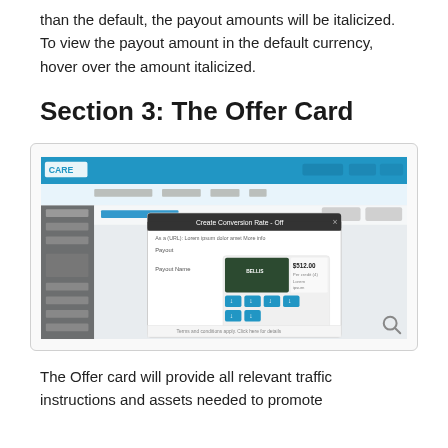than the default, the payout amounts will be italicized. To view the payout amount in the default currency, hover over the amount italicized.
Section 3: The Offer Card
[Figure (screenshot): Screenshot of a web application showing the CARE interface with a modal dialog displaying an Offer Card with a dark green hotel image, price $512.00, and several blue action/share buttons below.]
The Offer card will provide all relevant traffic instructions and assets needed to promote the Campaign.